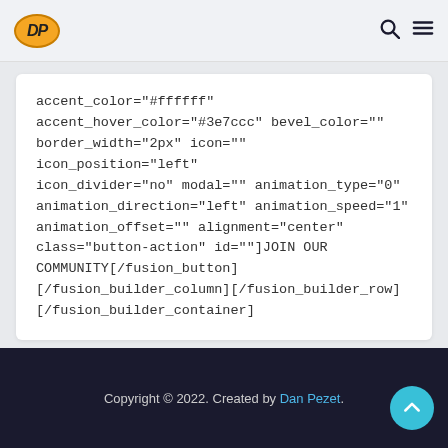DP [logo] [search icon] [menu icon]
accent_color="#ffffff"
accent_hover_color="#3e7ccc" bevel_color=""
border_width="2px" icon="" icon_position="left"
icon_divider="no" modal="" animation_type="0"
animation_direction="left" animation_speed="1"
animation_offset="" alignment="center"
class="button-action" id=""]JOIN OUR
COMMUNITY[/fusion_button]
[/fusion_builder_column][/fusion_builder_row]
[/fusion_builder_container]
Copyright © 2022. Created by Dan Pezet.